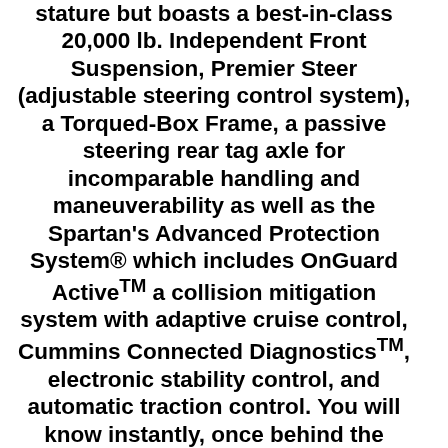stature but boasts a best-in-class 20,000 lb. Independent Front Suspension, Premier Steer (adjustable steering control system), a Torqued-Box Frame, a passive steering rear tag axle for incomparable handling and maneuverability as well as the Spartan's Advanced Protection System® which includes OnGuard Active™ a collision mitigation system with adaptive cruise control, Cummins Connected Diagnostics™, electronic stability control, and automatic traction control. You will know instantly, once behind the wheel of a Realm FS6, that this chassis is truly a cut above all other luxury motor coach chassis. It is powered by a Cummins X15 605HP diesel. You will